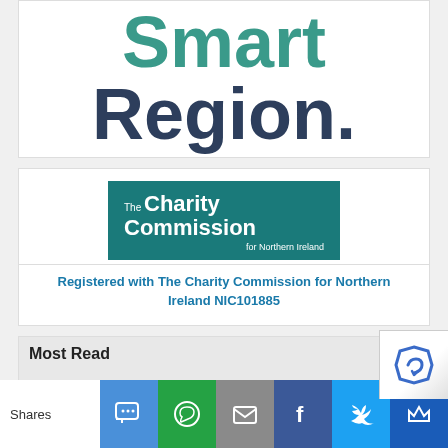[Figure (logo): Large bold text reading 'Smart' in teal and 'Region.' in dark navy blue, displayed as a logo/banner]
[Figure (logo): The Charity Commission for Northern Ireland logo - dark teal rectangular banner with white text]
Registered with The Charity Commission for Northern Ireland NIC101885
Most Read
[Figure (screenshot): Social sharing bar with icons for SMS, WhatsApp, Email, Facebook, Twitter, and Crown/Mailing app, showing 'Shares' label on left]